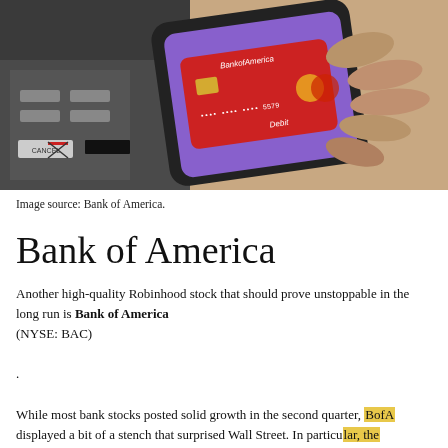[Figure (photo): A hand holding a smartphone displaying a Bank of America debit card on screen, positioned near an ATM keypad.]
Image source: Bank of America.
Bank of America
Another high-quality Robinhood stock that should prove unstoppable in the long run is Bank of America (NYSE: BAC)
.
While most bank stocks posted solid growth in the second quarter, BofA displayed a bit of a stench that surprised Wall Street. In particular, the